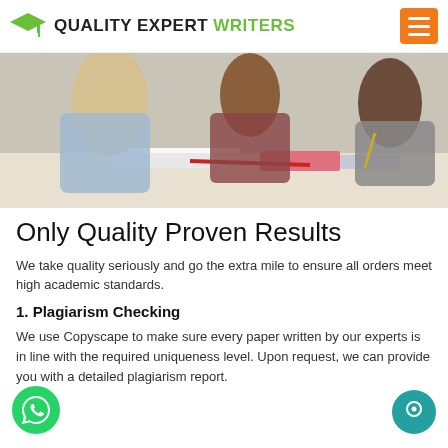QUALITY EXPERT WRITERS
[Figure (photo): Students sitting at a table studying together with books and pencils]
Only Quality Proven Results
We take quality seriously and go the extra mile to ensure all orders meet high academic standards.
1. Plagiarism Checking
We use Copyscape to make sure every paper written by our experts is in line with the required uniqueness level. Upon request, we can provide you with a detailed plagiarism report.